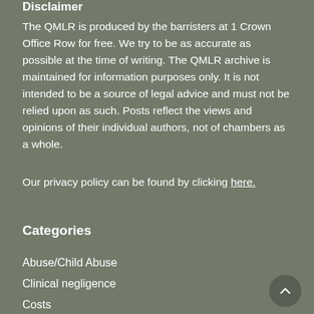Disclaimer
The QMLR is produced by the barristers at 1 Crown Office Row for free. We try to be as accurate as possible at the time of writing. The QMLR archive is maintained for information purposes only. It is not intended to be a source of legal advice and must not be relied upon as such. Posts reflect the views and opinions of their individual authors, not of chambers as a whole.
Our privacy policy can be found by clicking here.
Categories
Abuse/Child Abuse
Clinical negligence
Costs